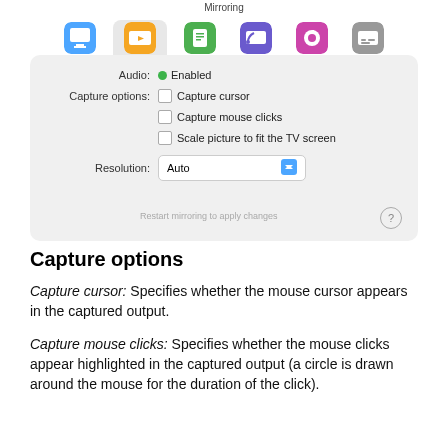[Figure (screenshot): macOS application settings window showing Mirroring tab selected with navigation icons for General, Mirroring, Streaming, Chromecast, DLNA, Subtitles. Settings panel shows Audio: Enabled (green dot), Capture options with three unchecked checkboxes (Capture cursor, Capture mouse clicks, Scale picture to fit the TV screen), Resolution dropdown set to Auto, and a 'Restart mirroring to apply changes' note with a help button.]
Capture options
Capture cursor: Specifies whether the mouse cursor appears in the captured output.
Capture mouse clicks: Specifies whether the mouse clicks appear highlighted in the captured output (a circle is drawn around the mouse for the duration of the click).